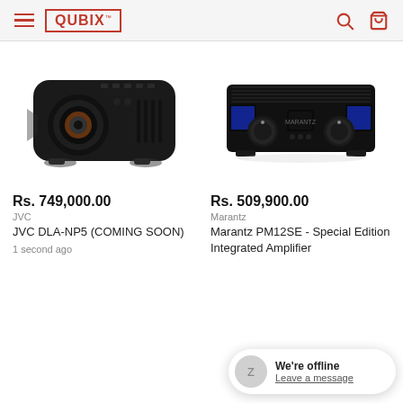QUBIX
[Figure (photo): JVC DLA-NP5 black projector on white background]
[Figure (photo): Marantz PM12SE black integrated amplifier with blue accent lights on white background]
Rs. 749,000.00
JVC
JVC DLA-NP5 (COMING SOON)
Rs. 509,900.00
Marantz
Marantz PM12SE - Special Edition Integrated Amplifier
1 second ago
We're offline Leave a message